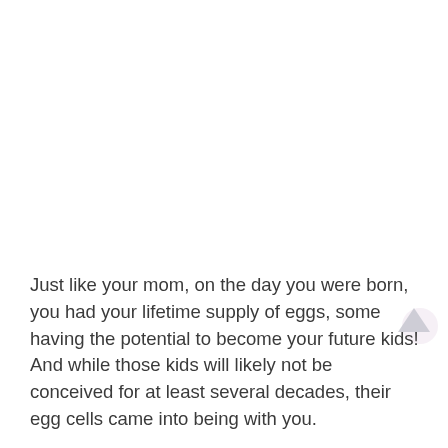Just like your mom, on the day you were born, you had your lifetime supply of eggs, some having the potential to become your future kids! And while those kids will likely not be conceived for at least several decades, their egg cells came into being with you.